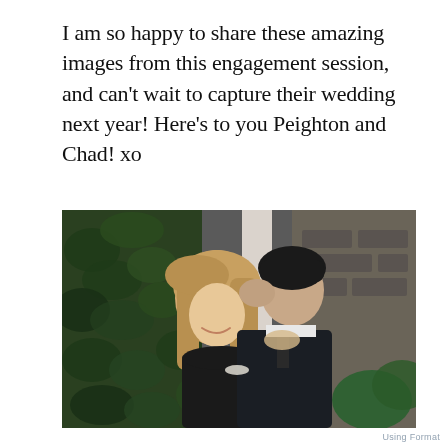I am so happy to share these amazing images from this engagement session, and can't wait to capture their wedding next year! Here's to you Peighton and Chad! xo
[Figure (photo): Engagement photo of a couple outdoors against an ivy-covered wall. A young woman with long blonde hair wearing a black dress smiles with eyes closed as a young man in a dark suit kisses her on the head. He has dark hair and is placing his hand on her head. The background shows lush green ivy and a stone or brick wall.]
Using Format